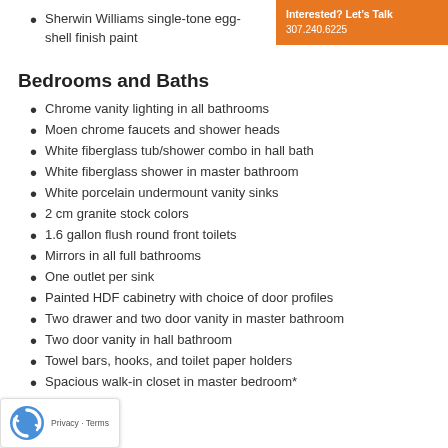Sherwin Williams single-tone egg-shell finish paint
Bedrooms and Baths
Chrome vanity lighting in all bathrooms
Moen chrome faucets and shower heads
White fiberglass tub/shower combo in hall bath
White fiberglass shower in master bathroom
White porcelain undermount vanity sinks
2 cm granite stock colors
1.6 gallon flush round front toilets
Mirrors in all full bathrooms
One outlet per sink
Painted HDF cabinetry with choice of door profiles
Two drawer and two door vanity in master bathroom
Two door vanity in hall bathroom
Towel bars, hooks, and toilet paper holders
Spacious walk-in closet in master bedroom*
[Figure (logo): Google reCAPTCHA privacy badge with rotating arrows icon, Privacy · Terms text]
Interested? Let's Talk 307.240.6225